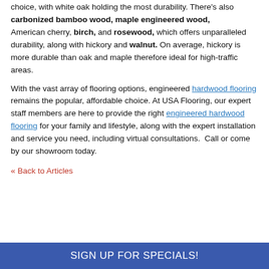choice, with white oak holding the most durability. There's also carbonized bamboo wood, maple engineered wood, American cherry, birch, and rosewood, which offers unparalleled durability, along with hickory and walnut. On average, hickory is more durable than oak and maple therefore ideal for high-traffic areas.
With the vast array of flooring options, engineered hardwood flooring remains the popular, affordable choice. At USA Flooring, our expert staff members are here to provide the right engineered hardwood flooring for your family and lifestyle, along with the expert installation and service you need, including virtual consultations.  Call or come by our showroom today.
« Back to Articles
SIGN UP FOR SPECIALS!